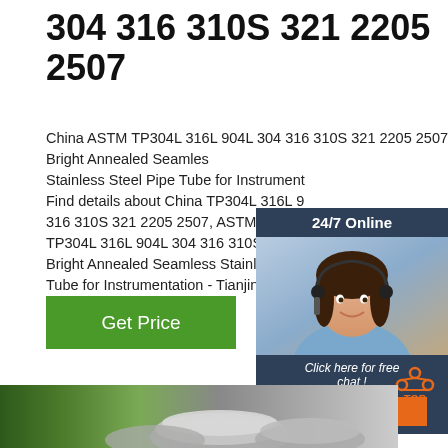304 316 310S 321 2205 2507
China ASTM TP304L 316L 904L 304 316 310S 321 2205 2507 Bright Annealed Seamless Stainless Steel Pipe Tube for Instrumentation - Find details about China TP304L 316L 904L 304 316 310S 321 2205 2507, ASTM from ASTM TP304L 316L 904L 304 316 310S 321 2205 2507 Bright Annealed Seamless Stainless Steel Pipe Tube for Instrumentation - Tianjin Boer King Import and Export Co., Ltd.
[Figure (photo): Customer service representative with headset - 24/7 Online chat widget with dark blue background, showing a smiling woman, 'Click here for free chat!' text and orange QUOTATION button]
[Figure (photo): Industrial warehouse with coils of stainless steel wire/pipe rods stacked in the foreground]